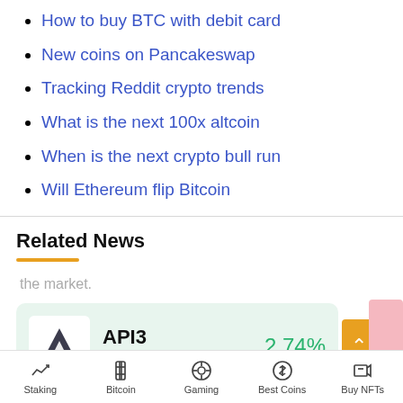How to buy BTC with debit card
New coins on Pancakeswap
Tracking Reddit crypto trends
What is the next 100x altcoin
When is the next crypto bull run
Will Ethereum flip Bitcoin
Related News
the market.
[Figure (infographic): API3 cryptocurrency card showing API3 logo (triangle), name API3, symbol API3, and 2.74% change in green]
Staking  Bitcoin  Gaming  Best Coins  Buy NFTs